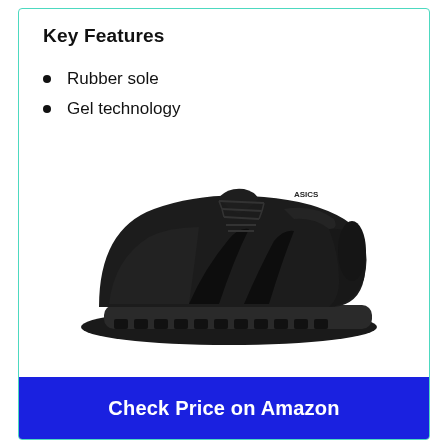Key Features
Rubber sole
Gel technology
[Figure (photo): Black ASICS running shoe (GEL series) shown from the side on a white background. The shoe is entirely black with mesh upper, lace-up closure, and a cushioned rubber sole.]
Check Price on Amazon